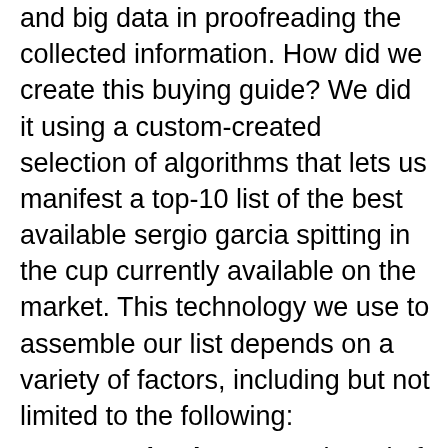and big data in proofreading the collected information. How did we create this buying guide? We did it using a custom-created selection of algorithms that lets us manifest a top-10 list of the best available sergio garcia spitting in the cup currently available on the market. This technology we use to assemble our list depends on a variety of factors, including but not limited to the following:
Brand Value: Every brand of sergio garcia spitting in the cup has a value all its own. Most brands offer some sort of unique selling proposition that’s supposed to bring something different to the table than their competitors.
Features: What bells and whistles matter for an sergio garcia spitting in